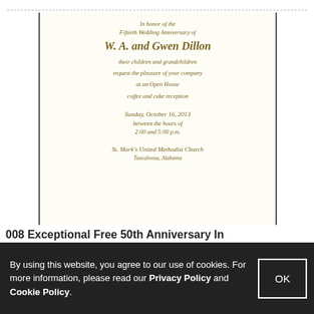[Figure (illustration): A formal 50th wedding anniversary invitation card with gold italic script text on cream paper, framed by dark vertical border lines. Text reads: In honor of the Fiftieth Wedding Anniversary of W. A. and Gwen Dillon their children and grandchildren request the pleasure of your company at an Open House coffee and cake reception Sunday, October 16, 2013 between the hours of 2:00 and 5:00 p.m. St. Mark's United Methodist Church [address partially visible]]
008 Exceptional Free 50th Anniversary In
By using this website, you agree to our use of cookies. For more information, please read our Privacy Policy and Cookie Policy.